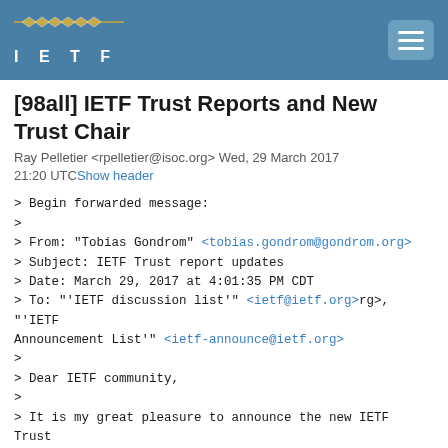[Figure (logo): IETF logo with diamond pattern and hamburger menu button on blue header bar]
[98all] IETF Trust Reports and New Trust Chair
Ray Pelletier <rpelletier@isoc.org> Wed, 29 March 2017 21:20 UTCShow header
> Begin forwarded message:
>
> From: "Tobias Gondrom" <tobias.gondrom@gondrom.org>
> Subject: IETF Trust report updates
> Date: March 29, 2017 at 4:01:35 PM CDT
> To: "'IETF discussion list'" <ietf@ietf.org>rg>, "'IETF Announcement List'" <ietf-announce@ietf.org>
>
> Dear IETF community,
>
> It is my great pleasure to announce the new IETF Trust chair Kaveh Ranjbar.
> He has newly joined the IAOC and Trust and has been elected as new IETF Trust chair during the Trust meeting yesterday.
>
> Aligned with the new update oriented format for the plenary, this meeting, there will be no IETF Trust report